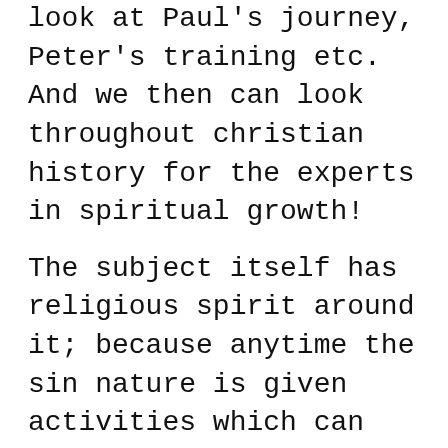look at Paul's journey, Peter's training etc. And we then can look throughout christian history for the experts in spiritual growth!
The subject itself has religious spirit around it; because anytime the sin nature is given activities which can make one more holy, a better person, or closer to God, we tend to want to strive. But there is a balance here–again, we do our part, and God does His. His Son has of course, done everything which really matters; but we are also asked in scripture to work out and tend to our salvation process. And we know that